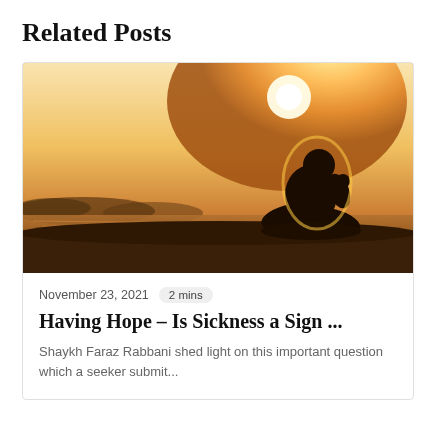Related Posts
[Figure (photo): Silhouette of a person sitting on a rock against a warm golden sunset, with a lake and treeline in the background]
November 23, 2021   2 mins
Having Hope – Is Sickness a Sign ...
Shaykh Faraz Rabbani shed light on this important question which a seeker submit...